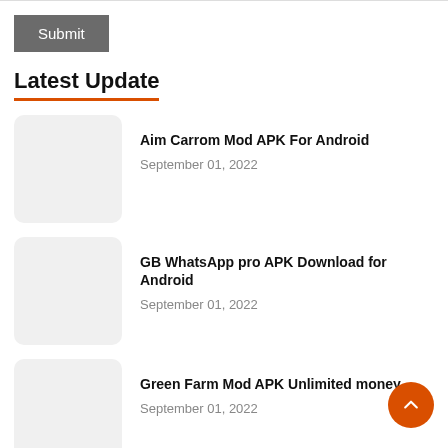Submit
Latest Update
Aim Carrom Mod APK For Android
September 01, 2022
GB WhatsApp pro APK Download for Android
September 01, 2022
Green Farm Mod APK Unlimited money
September 01, 2022
Simontok APK Download For Android